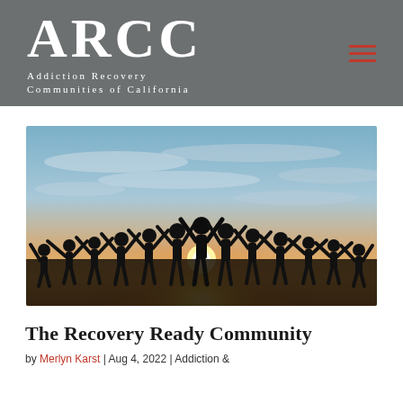ARCC Addiction Recovery Communities of California
[Figure (photo): Silhouettes of a group of people holding hands with arms raised against a dramatic sunset sky with orange and blue tones.]
The Recovery Ready Community
by Merlyn Karst | Aug 4, 2022 | Addiction &